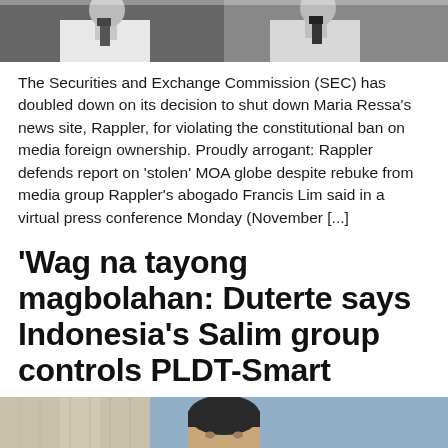[Figure (photo): Top portion of a photo showing two men in suits, cropped at the top of the page]
The Securities and Exchange Commission (SEC) has doubled down on its decision to shut down Maria Ressa's news site, Rappler, for violating the constitutional ban on media foreign ownership. Proudly arrogant: Rappler defends report on ‘stolen’ MOA globe despite rebuke from media group Rappler’s abogado Francis Lim said in a virtual press conference Monday (November [...]
‘Wag na tayong magbolahan: Duterte says Indonesia’s Salim group controls PLDT-Smart
[Figure (photo): Bottom portion of a photo showing a man, partially visible, appearing to be Duterte, with a blue background]